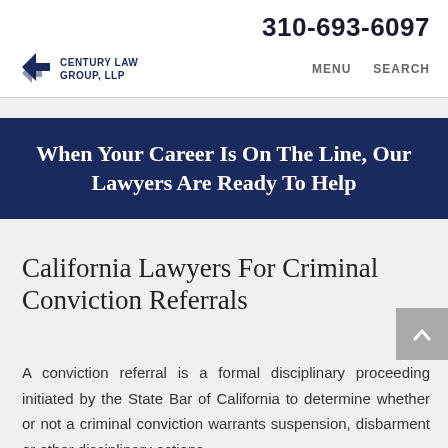310-693-6097
[Figure (logo): Century Law Group LLP logo with chevron/arrow icon]
MENU  SEARCH
When Your Career Is On The Line, Our Lawyers Are Ready To Help
California Lawyers For Criminal Conviction Referrals
A conviction referral is a formal disciplinary proceeding initiated by the State Bar of California to determine whether or not a criminal conviction warrants suspension, disbarment or other disciplinary actions.